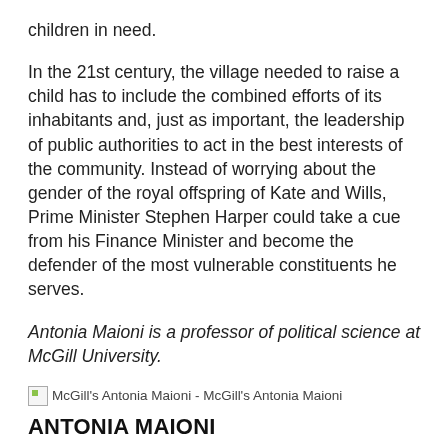children in need.
In the 21st century, the village needed to raise a child has to include the combined efforts of its inhabitants and, just as important, the leadership of public authorities to act in the best interests of the community. Instead of worrying about the gender of the royal offspring of Kate and Wills, Prime Minister Stephen Harper could take a cue from his Finance Minister and become the defender of the most vulnerable constituents he serves.
Antonia Maioni is a professor of political science at McGill University.
[Figure (photo): McGill's Antonia Maioni - McGill's Antonia Maioni (broken image placeholder)]
McGill's Antonia Maioni - McGill's Antonia Maioni
ANTONIA MAIONI
Published Wednesday, Nov. 16, 2011 2:00AM EST